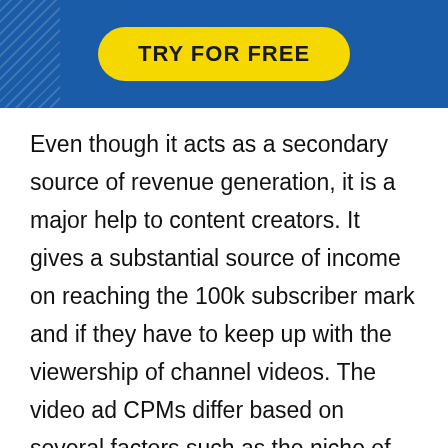[Figure (other): Blue banner with diagonal stripe pattern on the left and a yellow rounded button labeled 'TRY FOR FREE' in bold black uppercase text]
Even though it acts as a secondary source of revenue generation, it is a major help to content creators. It gives a substantial source of income on reaching the 100k subscriber mark and if they have to keep up with the viewership of channel videos. The video ad CPMs differ based on several factors such as the niche of the video or the channels, the keywords being used, and the intent is just some of the important metrics that decide the CPM rates of the served ads. At a larger level, the ads that get the highest CPMs in the auctions are those